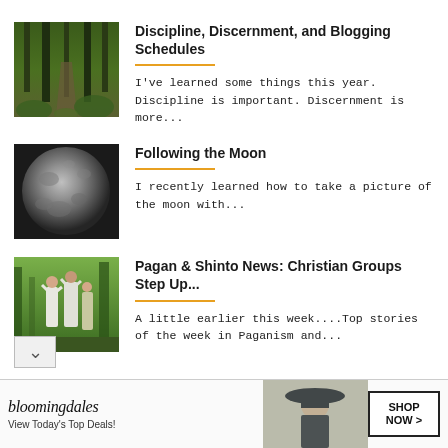[Figure (photo): Forest path with tall trees and green undergrowth, dirt trail leading into the distance]
Discipline, Discernment, and Blogging Schedules
I've learned some things this year. Discipline is important. Discernment is more...
[Figure (photo): Black and white close-up photograph of the moon surface]
Following the Moon
I recently learned how to take a picture of the moon with...
[Figure (photo): People in white and green robes outdoors in a forested setting]
Pagan & Shinto News: Christian Groups Step Up...
A little earlier this week....Top stories of the week in Paganism and...
[Figure (screenshot): Bloomingdales advertisement banner: View Today's Top Deals! with SHOP NOW button and woman in hat]